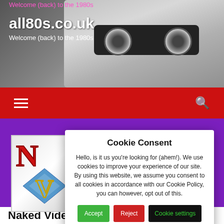all80s.co.uk — Welcome (back) to the 1980s
[Figure (screenshot): Website header with cassette tape image background, showing site title 'all80s.co.uk' and tagline 'Welcome (back) to the 1980s']
[Figure (logo): Naked Video logo showing a large red N and a stylized V on a light background]
Cookie Consent
Hello, is it us you're looking for (ahem!). We use cookies to improve your experience of our site. By using this website, we assume you consent to all cookies in accordance with our Cookie Policy, you can however, opt out of this.
Accept   Reject   Cookie settings
Naked Video